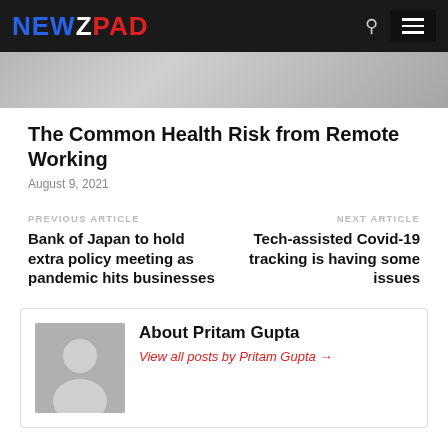NEWZPAD
[Figure (photo): Partial view of a person working at a desk with a keyboard and mouse, cropped news article header image]
The Common Health Risk from Remote Working
August 9, 2021
PREVIOUS ARTICLE
Bank of Japan to hold extra policy meeting as pandemic hits businesses
NEXT ARTICLE
Tech-assisted Covid-19 tracking is having some issues
About Pritam Gupta
View all posts by Pritam Gupta →